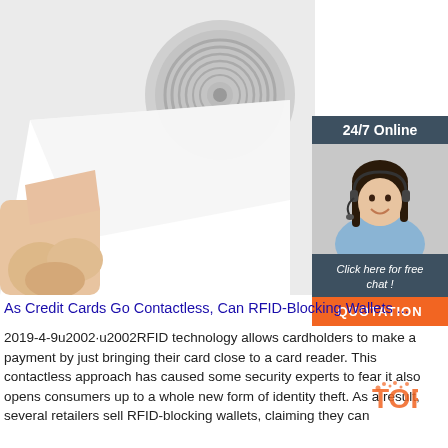[Figure (photo): Close-up photo of a hand peeling back a white label to reveal an RFID coil/antenna underneath, on a white background. Top right corner contains an advertisement box with '24/7 Online' header, a smiling woman wearing a headset, 'Click here for free chat!' text, and an orange QUOTATION button.]
As Credit Cards Go Contactless, Can RFID-Blocking Wallets ...
2019-4-9u2002·u2002RFID technology allows cardholders to make a payment by just bringing their card close to a card reader. This contactless approach has caused some security experts to fear it also opens consumers up to a whole new form of identity theft. As a result, several retailers sell RFID-blocking wallets, claiming they can